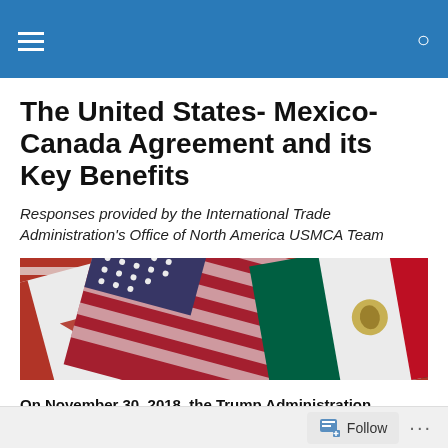navigation header with hamburger menu and search icon
The United States- Mexico-Canada Agreement and its Key Benefits
Responses provided by the International Trade Administration's Office of North America USMCA Team
[Figure (photo): Three overlapping flags of Canada, United States, and Mexico arranged diagonally]
On November 30, 2018, the Trump Administration
Follow